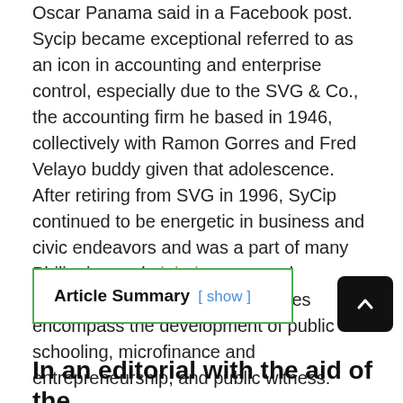Oscar Panama said in a Facebook post. Sycip became exceptional referred to as an icon in accounting and enterprise control, especially due to the SVG & Co., the accounting firm he based in 1946, collectively with Ramon Gorres and Fred Velayo buddy given that adolescence. After retiring from SVG in 1996, SyCip continued to be energetic in business and civic endeavors and was a part of many Philippine and global groups and foundations' board. His advocacies encompass the development of public schooling, microfinance and entrepreneurship, and public witness.
| Article Summary |
| --- |
| [ show ] |
In an editorial with the aid of the